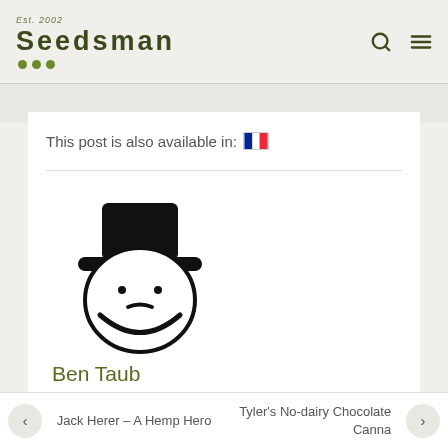Est. 2002 Seedsman
This post is also available in: [French flag]
[Figure (illustration): Black and white cartoon illustration of a person wearing a top hat with a round face, two dot eyes, a small mustache, and a beard outline. Author avatar for Ben Taub.]
Ben Taub
VIEW ALL POSTS
Jack Herer – A Hemp Hero
Tyler's No-dairy Chocolate Canna